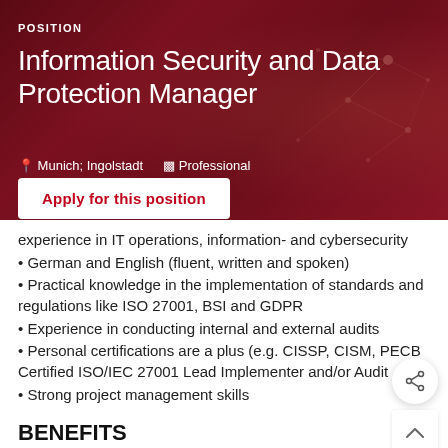POSITION
Information Security and Data Protection Manager
Munich; Ingolstadt  Professional
Apply for this position
experience in IT operations, information- and cybersecurity
• German and English (fluent, written and spoken)
• Practical knowledge in the implementation of standards and regulations like ISO 27001, BSI and GDPR
• Experience in conducting internal and external audits
• Personal certifications are a plus (e.g. CISSP, CISM, PECB Certified ISO/IEC 27001 Lead Implementer and/or Audit
• Strong project management skills
BENEFITS
• An international work environment in one of Germany's